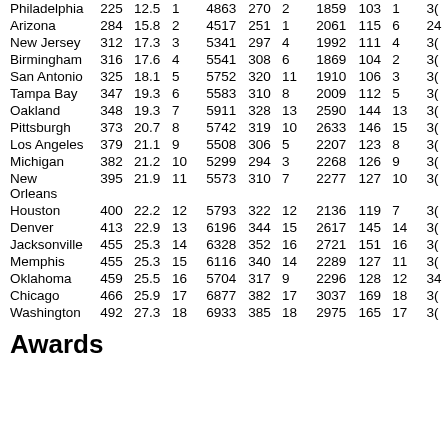| Philadelphia | 225 | 12.5 | 1 | 4863 | 270 | 2 | 1859 | 103 | 1 | 3(truncated) |
| Arizona | 284 | 15.8 | 2 | 4517 | 251 | 1 | 2061 | 115 | 6 | 24(truncated) |
| New Jersey | 312 | 17.3 | 3 | 5341 | 297 | 4 | 1992 | 111 | 4 | 3(truncated) |
| Birmingham | 316 | 17.6 | 4 | 5541 | 308 | 6 | 1869 | 104 | 2 | 3(truncated) |
| San Antonio | 325 | 18.1 | 5 | 5752 | 320 | 11 | 1910 | 106 | 3 | 3(truncated) |
| Tampa Bay | 347 | 19.3 | 6 | 5583 | 310 | 8 | 2009 | 112 | 5 | 3(truncated) |
| Oakland | 348 | 19.3 | 7 | 5911 | 328 | 13 | 2590 | 144 | 13 | 3(truncated) |
| Pittsburgh | 373 | 20.7 | 8 | 5742 | 319 | 10 | 2633 | 146 | 15 | 3(truncated) |
| Los Angeles | 379 | 21.1 | 9 | 5508 | 306 | 5 | 2207 | 123 | 8 | 3(truncated) |
| Michigan | 382 | 21.2 | 10 | 5299 | 294 | 3 | 2268 | 126 | 9 | 3(truncated) |
| New Orleans | 395 | 21.9 | 11 | 5573 | 310 | 7 | 2277 | 127 | 10 | 3(truncated) |
| Houston | 400 | 22.2 | 12 | 5793 | 322 | 12 | 2136 | 119 | 7 | 3(truncated) |
| Denver | 413 | 22.9 | 13 | 6196 | 344 | 15 | 2617 | 145 | 14 | 3(truncated) |
| Jacksonville | 455 | 25.3 | 14 | 6328 | 352 | 16 | 2721 | 151 | 16 | 3(truncated) |
| Memphis | 455 | 25.3 | 15 | 6116 | 340 | 14 | 2289 | 127 | 11 | 3(truncated) |
| Oklahoma | 459 | 25.5 | 16 | 5704 | 317 | 9 | 2296 | 128 | 12 | 3(truncated) |
| Chicago | 466 | 25.9 | 17 | 6877 | 382 | 17 | 3037 | 169 | 18 | 3(truncated) |
| Washington | 492 | 27.3 | 18 | 6933 | 385 | 18 | 2975 | 165 | 17 | 3(truncated) |
Awards